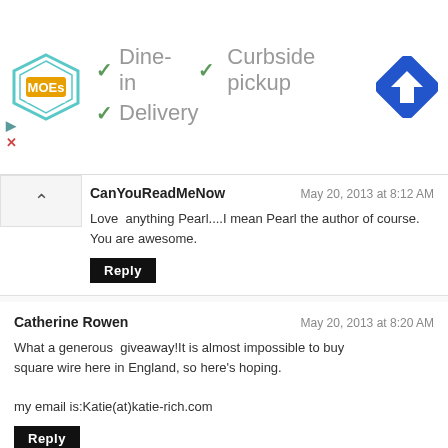[Figure (screenshot): Restaurant ad banner showing MOEs logo with dine-in, curbside pickup, delivery options and navigation icon]
CanYouReadMeNow — May 20, 2013 at 8:12 AM
Love anything Pearl....I mean Pearl the author of course. You are awesome.
Reply
Catherine Rowen — May 20, 2013 at 8:20 AM
What a generous giveaway!It is almost impossible to buy square wire here in England, so here's hoping.

my email is:Katie(at)katie-rich.com
Reply
Unknown — May 20, 2013 at 8:22 AM